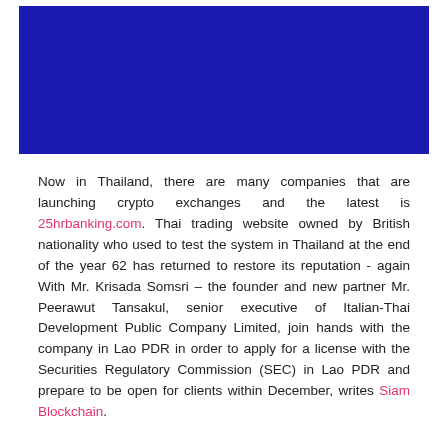[Figure (photo): Dark blue banner/header image, solid dark blue rectangle]
Now in Thailand, there are many companies that are launching crypto exchanges and the latest is 25hrbanking.com. Thai trading website owned by British nationality who used to test the system in Thailand at the end of the year 62 has returned to restore its reputation - again With Mr. Krisada Somsri – the founder and new partner Mr. Peerawut Tansakul, senior executive of Italian-Thai Development Public Company Limited, join hands with the company in Lao PDR in order to apply for a license with the Securities Regulatory Commission (SEC) in Lao PDR and prepare to be open for clients within December, writes Siam Blockchain.
Before expanding to more than 30 countries around the world in the next 2-3 years, such as Hong Kong, Singapore, Maldives, Nepal, Indonesia, Malaysia, Cambodia, Vietnam, India and many other countries additionally the company is an investment of